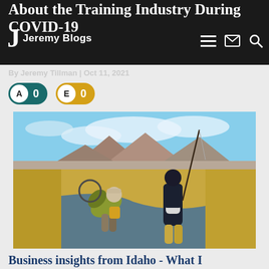Jeremy Blogs
About the Training Industry During COVID-19
By Jeremy Tillman | Oct 11, 2021
[Figure (photo): Two people fly fishing in a stream surrounded by dry grassy meadow with mountains in the background under a partly cloudy sky.]
Business insights from Idaho - What I